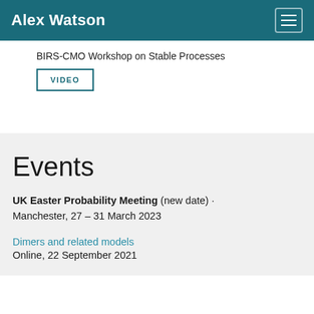Alex Watson
BIRS-CMO Workshop on Stable Processes
VIDEO
Events
UK Easter Probability Meeting (new date) · Manchester, 27 – 31 March 2023
Dimers and related models
Online, 22 September 2021